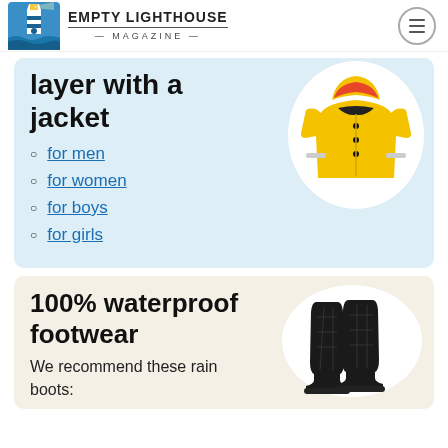Empty Lighthouse Magazine
layer with a jacket
for men
for women
for boys
for girls
[Figure (photo): Yellow children's rain jacket with reflective strips and hood]
100% waterproof footwear
We recommend these rain boots:
[Figure (photo): Two black quilted rain boots / waterproof footwear]